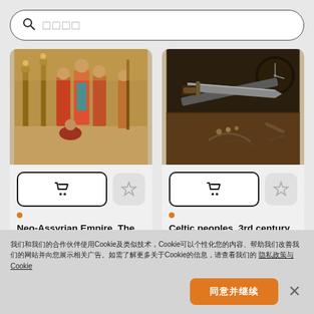□□□□ (search placeholder)
[Figure (photo): Painting of ancient court scene, Neo-Assyrian Empire, figures in colorful robes]
[Figure (photo): Photo of Celtic grave artifacts including a dagger/sword and other metal objects on dark background]
Neo-Assyrian Empire. The King Ashurbanipal (668-627 BC) sacrificing lions for t...
Neo-Assyrian Empire. The King
Celtic peoples. 3rd century BC. Recreation of a grave with stela. Burial pit...
Celtic peoples. 3rd century BC.
我们和我们的合作伙伴使用Cookie及类似技术，Cookie可以个性化您的内容、帮助我们改善我们的网站并向您展示相关广告。如需了解更多关于Cookie的信息，请查看我们的 隐私政策与Cookie
同意并继续